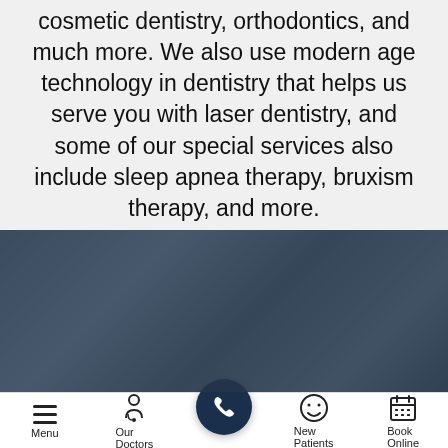cosmetic dentistry, orthodontics, and much more. We also use modern age technology in dentistry that helps us serve you with laser dentistry, and some of our special services also include sleep apnea therapy, bruxism therapy, and more.
[Figure (photo): Darkened/overlaid photo of people smiling, used as a background banner image for a dental clinic website section.]
Menu | Our Doctors | [Call Button] | New Patients | Book Online